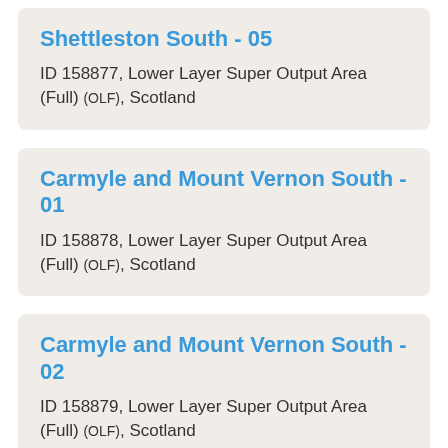Shettleston South - 05
ID 158877, Lower Layer Super Output Area (Full) (OLF), Scotland
Carmyle and Mount Vernon South - 01
ID 158878, Lower Layer Super Output Area (Full) (OLF), Scotland
Carmyle and Mount Vernon South - 02
ID 158879, Lower Layer Super Output Area (Full) (OLF), Scotland